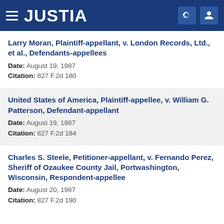JUSTIA
Larry Moran, Plaintiff-appellant, v. London Records, Ltd., et al., Defendants-appellees
Date: August 19, 1987
Citation: 827 F.2d 180
United States of America, Plaintiff-appellee, v. William G. Patterson, Defendant-appellant
Date: August 19, 1987
Citation: 827 F.2d 184
Charles S. Steele, Petitioner-appellant, v. Fernando Perez, Sheriff of Ozaukee County Jail, Portwashington, Wisconsin, Respondent-appellee
Date: August 20, 1987
Citation: 827 F.2d 190